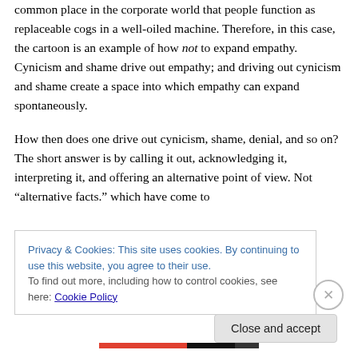common place in the corporate world that people function as replaceable cogs in a well-oiled machine. Therefore, in this case, the cartoon is an example of how not to expand empathy. Cynicism and shame drive out empathy; and driving out cynicism and shame create a space into which empathy can expand spontaneously.
How then does one drive out cynicism, shame, denial, and so on? The short answer is by calling it out, acknowledging it, interpreting it, and offering an alternative point of view. Not “alternative facts.” which have come to
Privacy & Cookies: This site uses cookies. By continuing to use this website, you agree to their use.
To find out more, including how to control cookies, see here: Cookie Policy
Close and accept